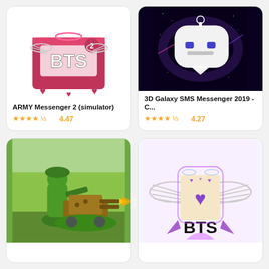[Figure (screenshot): App icon for ARMY Messenger 2 (simulator) - pink envelope with angel wings and BTS text]
ARMY Messenger 2 (simulator)
4.47
[Figure (screenshot): App icon for 3D Galaxy SMS Messenger 2019 - robot chat bubble on dark galaxy background]
3D Galaxy SMS Messenger 2019 - C...
4.27
[Figure (screenshot): App icon showing green toy soldier with machine gun turret]
[Figure (screenshot): App icon showing BTS logo with angel wings and purple heart]